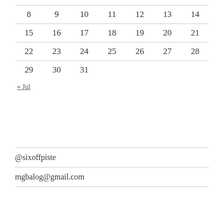| 8 | 9 | 10 | 11 | 12 | 13 | 14 |
| 15 | 16 | 17 | 18 | 19 | 20 | 21 |
| 22 | 23 | 24 | 25 | 26 | 27 | 28 |
| 29 | 30 | 31 |  |  |  |  |
« Jul
@sixoffpiste
mgbalog@gmail.com